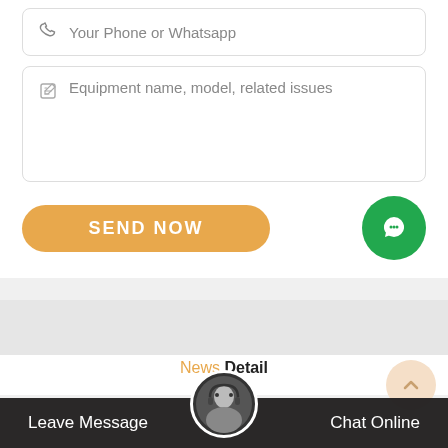Your Phone or Whatsapp
Equipment name, model, related issues
SEND NOW
News Detail
Leave Message
Chat Online